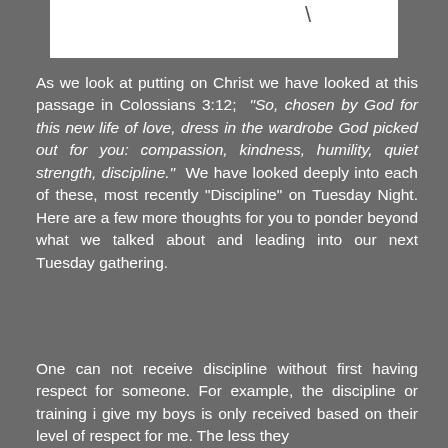[Figure (other): White rectangular box at top of page with a backslash character visible]
As we look at putting on Christ we have looked at this passage in Colossians 3:12; “So, chosen by God for this new life of love, dress in the wardrobe God picked out for you: compassion, kindness, humility, quiet strength, discipline.” We have looked deeply into each of these, most recently “Discipline” on Tuesday Night. Here are a few more thoughts for you to ponder beyond what we talked about and leading into our next Tuesday gathering.
One can not receive discipline without first having respect for someone. For example, the discipline or training i give my boys is only received based on their level of respect for me. The less they